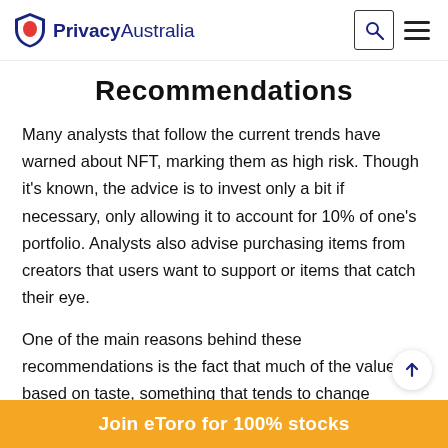PrivacyAustralia
Recommendations
Many analysts that follow the current trends have warned about NFT, marking them as high risk. Though it's known, the advice is to invest only a bit if necessary, only allowing it to account for 10% of one's portfolio. Analysts also advise purchasing items from creators that users want to support or items that catch their eye.
One of the main reasons behind these recommendations is the fact that much of the value is based on taste, something that tends to change rapidly. It's better to support artists and purchase
Join eToro for 100% stocks